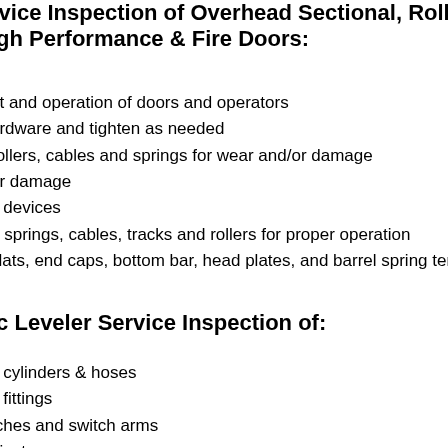Service Inspection of Overhead Sectional, Rolling High Performance & Fire Doors:
nt and operation of doors and operators
ardware and tighten as needed
rollers, cables and springs for wear and/or damage
or damage
y devices
e springs, cables, tracks and rollers for proper operation
slats, end caps, bottom bar, head plates, and barrel spring tensi
ic Leveler Service Inspection of:
c cylinders & hoses
c fittings
tches and switch arms
pivots
ne
el in reservoir
ock in motor/pump
ical components